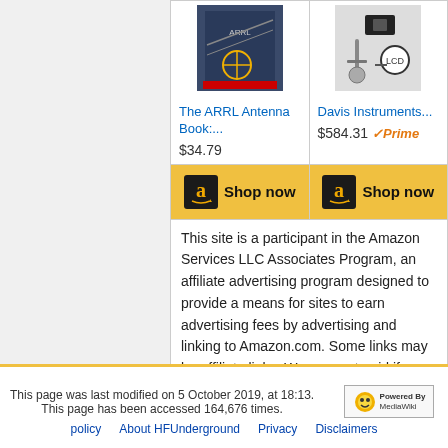[Figure (other): Amazon product listing card for 'The ARRL Antenna Book:...' priced at $34.79 with a Shop now button]
[Figure (other): Amazon product listing card for 'Davis Instruments...' priced at $584.31 with Prime badge and Shop now button]
This site is a participant in the Amazon Services LLC Associates Program, an affiliate advertising program designed to provide a means for sites to earn advertising fees by advertising and linking to Amazon.com. Some links may be affiliate links. We may get paid if you buy something or take an action after clicking one of these.
This page was last modified on 5 October 2019, at 18:13. This page has been accessed 164,676 times. Privacy policy About HFUnderground Disclaimers